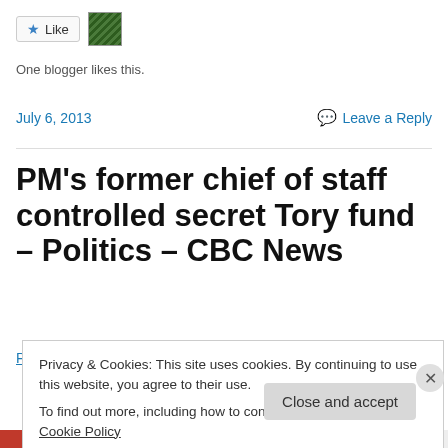[Figure (other): Like button with star icon and a mosaic/avatar icon next to it]
One blogger likes this.
July 6, 2013    Leave a Reply
PM's former chief of staff controlled secret Tory fund – Politics – CBC News
PM's former chief of staff controlled secret Tory fund
Privacy & Cookies: This site uses cookies. By continuing to use this website, you agree to their use.
To find out more, including how to control cookies, see here: Cookie Policy